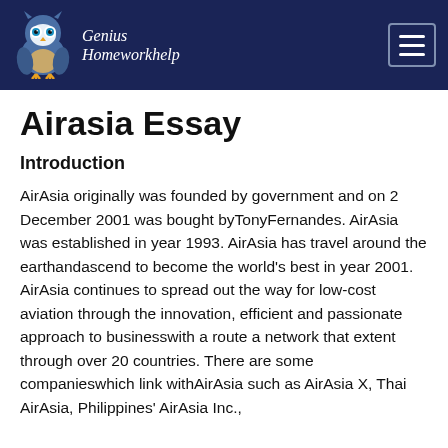Genius Homeworkhelp
Airasia Essay
Introduction
AirAsia originally was founded by government and on 2 December 2001 was bought byTonyFernandes. AirAsia was established in year 1993. AirAsia has travel around the earthandascend to become the world's best in year 2001. AirAsia continues to spread out the way for low-cost aviation through the innovation, efficient and passionate approach to businesswith a route a network that extent through over 20 countries. There are some companieswhich link withAirAsia such as AirAsia X, Thai AirAsia, Philippines' AirAsia Inc.,